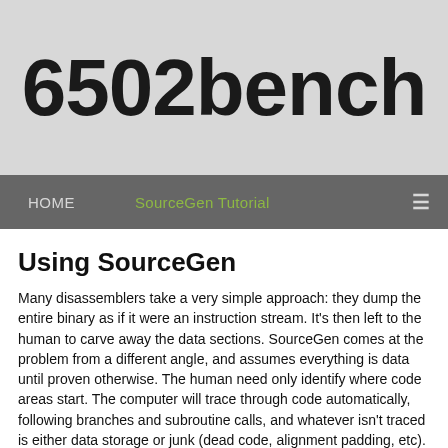6502bench
HOME   SourceGen Tutorial   ≡
Using SourceGen
Many disassemblers take a very simple approach: they dump the entire binary as if it were an instruction stream. It's then left to the human to carve away the data sections. SourceGen comes at the problem from a different angle, and assumes everything is data until proven otherwise. The human need only identify where code areas start. The computer will trace through code automatically, following branches and subroutine calls, and whatever isn't traced is either data storage or junk (dead code, alignment padding, etc).
The difference in approach can be confusing at first for people accustomed to other software. Code tracing tends to produce better results more quickly, however, because much